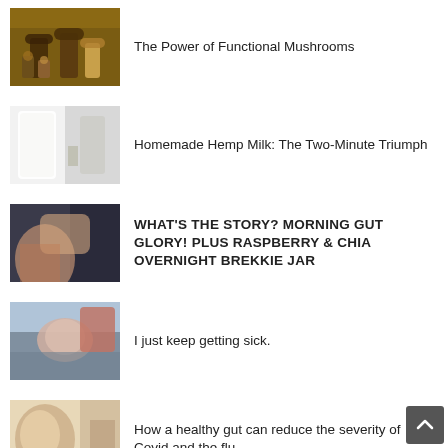The Power of Functional Mushrooms
Homemade Hemp Milk: The Two-Minute Triumph
WHAT'S THE STORY? MORNING GUT GLORY! PLUS RASPBERRY & CHIA OVERNIGHT BREKKIE JAR
I just keep getting sick.
How a healthy gut can reduce the severity of Covid and the flu
Congratulations Zestt Wellness!